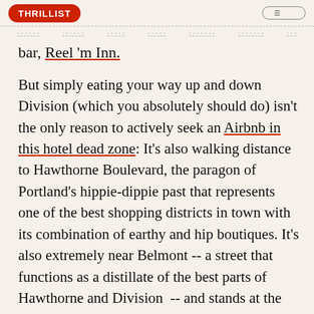THRILLIST (logo) | nav links
bar, Reel 'm Inn.
But simply eating your way up and down Division (which you absolutely should do) isn't the only reason to actively seek an Airbnb in this hotel dead zone: It's also walking distance to Hawthorne Boulevard, the paragon of Portland's hippie-dippie past that represents one of the best shopping districts in town with its combination of earthy and hip boutiques. It's also extremely near Belmont -- a street that functions as a distillate of the best parts of Hawthorne and Division  -- and stands at the foothills of Mt. Tabor, the east side's natural crown jewel, a volcanic cinder cone ripe for hiking and